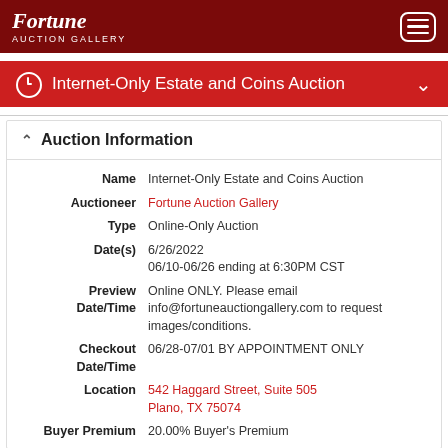Fortune Auction Gallery
Internet-Only Estate and Coins Auction
Auction Information
| Field | Value |
| --- | --- |
| Name | Internet-Only Estate and Coins Auction |
| Auctioneer | Fortune Auction Gallery |
| Type | Online-Only Auction |
| Date(s) | 6/26/2022
06/10-06/26 ending at 6:30PM CST |
| Preview Date/Time | Online ONLY. Please email info@fortuneauctiongallery.com to request images/conditions. |
| Checkout Date/Time | 06/28-07/01 BY APPOINTMENT ONLY |
| Location | 542 Haggard Street, Suite 505
Plano, TX 75074 |
| Buyer Premium | 20.00% Buyer's Premium |